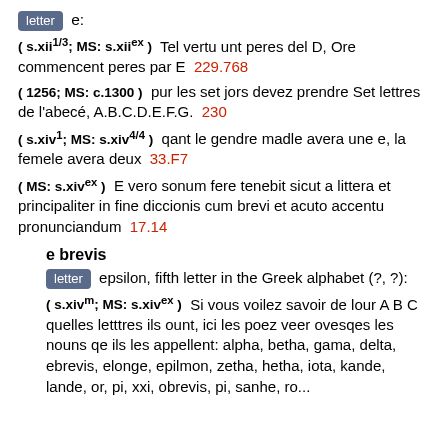letter  e:
( s.xii^{1/3}; MS: s.xii^{ex} )  Tel vertu unt peres del D, Ore commencent peres par E  229.768
( 1256; MS: c.1300 )  pur les set jors devez prendre Set lettres de l'abecé, A.B.C.D.E.F.G.  230
( s.xiv^1; MS: s.xiv^{4/4} )  qant le gendre madle avera une e, la femele avera deux  33.F7
( MS: s.xiv^{ex} )  E vero sonum fere tenebit sicut a littera et principaliter in fine diccionis cum brevi et acuto accentu pronunciandum  17.14
e brevis
letter  epsilon, fifth letter in the Greek alphabet (?, ?):
( s.xiv^m; MS: s.xiv^{ex} )  Si vous voilez savoir de lour A B C quelles letttres ils ount, ici les poez veer ovesqes les nouns qe ils les appellent: alpha, betha, gama, delta, ebrevis, elonge, epilmon, zetha, hetha, iota, kande, lande, or, pi, xxi, obrevis, pi, sanhe, ro...